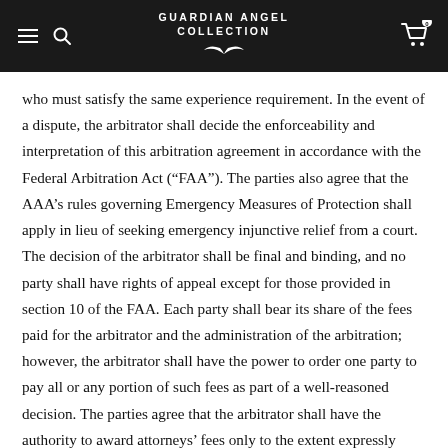GUARDIAN ANGEL COLLECTION
who must satisfy the same experience requirement. In the event of a dispute, the arbitrator shall decide the enforceability and interpretation of this arbitration agreement in accordance with the Federal Arbitration Act (“FAA”). The parties also agree that the AAA’s rules governing Emergency Measures of Protection shall apply in lieu of seeking emergency injunctive relief from a court. The decision of the arbitrator shall be final and binding, and no party shall have rights of appeal except for those provided in section 10 of the FAA. Each party shall bear its share of the fees paid for the arbitrator and the administration of the arbitration; however, the arbitrator shall have the power to order one party to pay all or any portion of such fees as part of a well-reasoned decision. The parties agree that the arbitrator shall have the authority to award attorneys’ fees only to the extent expressly authorized by statute or contract. The arbitrator shall have no authority to